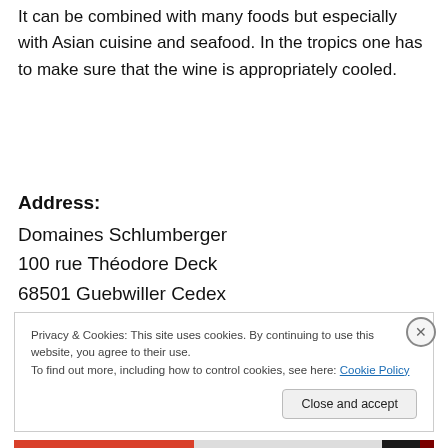It can be combined with many foods but especially with Asian cuisine and seafood. In the tropics one has to make sure that the wine is appropriately cooled.
Address:
Domaines Schlumberger
100 rue Théodore Deck
68501 Guebwiller Cedex
Privacy & Cookies: This site uses cookies. By continuing to use this website, you agree to their use.
To find out more, including how to control cookies, see here: Cookie Policy
Close and accept